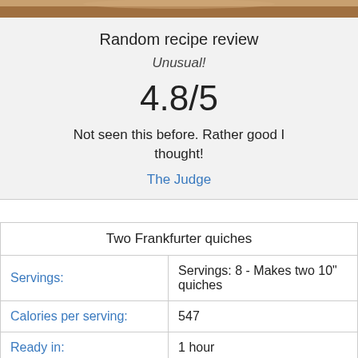[Figure (photo): Partial photo strip showing food dish at top of page]
Random recipe review
Unusual!
4.8/5
Not seen this before. Rather good I thought!
The Judge
| Two Frankfurter quiches |
| --- |
| Servings: | Servings: 8 - Makes two 10" quiches |
| Calories per serving: | 547 |
| Ready in: | 1 hour |
| Prep time: | 10 minutes |